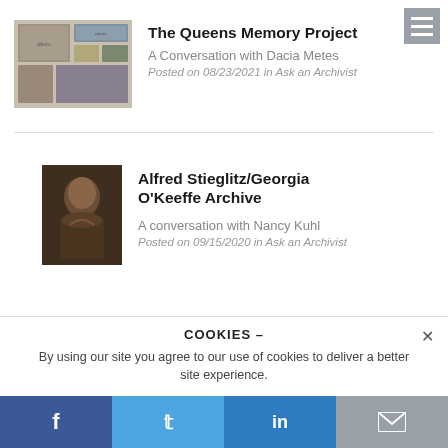[Figure (photo): Collage of old historical photographs mounted together]
The Queens Memory Project
A Conversation with Dacia Metes
Posted on 08/23/2021 in Ask an Archivist
[Figure (photo): Portrait painting of a woman in dark tones]
Alfred Stieglitz/Georgia O'Keeffe Archive
A conversation with Nancy Kuhl
Posted on 09/15/2020 in Ask an Archivist
COOKIES –
By using our site you agree to our use of cookies to deliver a better site experience.